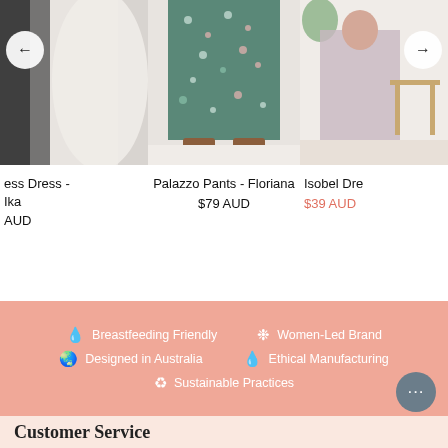[Figure (photo): Left product card showing partial dress with navigation arrow left, product name 'ess Dress - Ika', price partially visible 'AUD']
[Figure (photo): Center product card showing Palazzo Pants - Floriana on a model, floral print wide-leg pants with brown boots]
[Figure (photo): Right product card showing Isobel Dress partially visible with navigation arrow right, price $39 AUD in coral/sale color]
ess Dress -
Ika
AUD
Palazzo Pants - Floriana
$79 AUD
Isobel Dre
$39 AUD
🩸 Breastfeeding Friendly   🌸 Women-Led Brand
🌐 Designed in Australia   🩸 Ethical Manufacturing
♻ Sustainable Practices
Customer Service